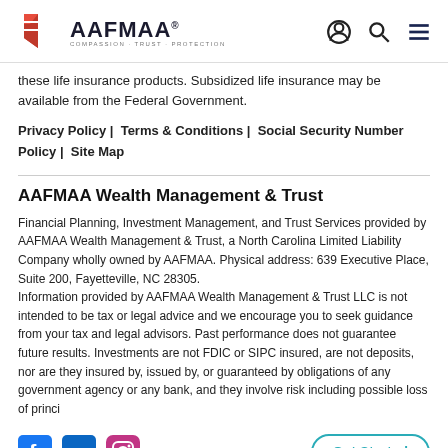AAFMAA® COMPASSION · TRUST · PROTECTION [navigation icons]
these life insurance products. Subsidized life insurance may be available from the Federal Government.
Privacy Policy | Terms & Conditions | Social Security Number Policy | Site Map
AAFMAA Wealth Management & Trust
Financial Planning, Investment Management, and Trust Services provided by AAFMAA Wealth Management & Trust, a North Carolina Limited Liability Company wholly owned by AAFMAA. Physical address: 639 Executive Place, Suite 200, Fayetteville, NC 28305.
Information provided by AAFMAA Wealth Management & Trust LLC is not intended to be tax or legal advice and we encourage you to seek guidance from your tax and legal advisors. Past performance does not guarantee future results. Investments are not FDIC or SIPC insured, are not deposits, nor are they insured by, issued by, or guaranteed by obligations of any government agency or any bank, and they involve risk including possible loss of princi
[Figure (logo): Facebook, LinkedIn, and Instagram social media icons]
Get Started